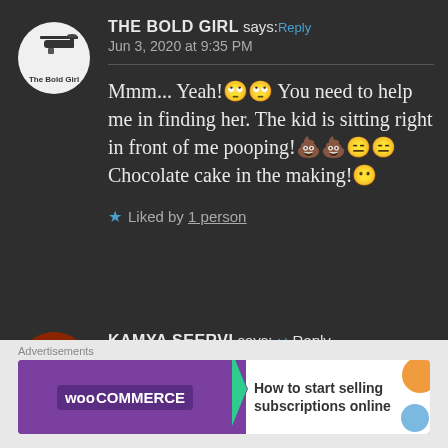THE BOLD GIRL says: Reply
Jun 3, 2020 at 9:35 PM
Mmm... Yeah!🙄🙄 You need to help me in finding her. The kid is sitting right in front of me pooping!💩💩😑😑 Chocolate cake in the making!😶
★ Liked by 1 person
KAMYA SEERVI says:↩ Reply
Jun 4, 2020 at 10:52 AM
Advertisements
WOOCOMMERCE - How to start selling subscriptions online